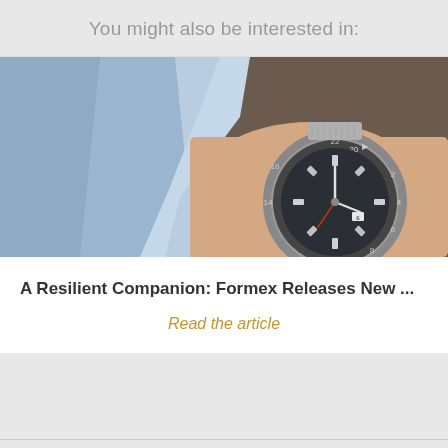You might also be interested in:
[Figure (photo): Close-up photo of a Formex GMT watch on a person's wrist, wearing a blue shirt. The watch has a dark dial with luminous indices, numbered bezel showing 14, 16, 18, 20, 22, and a mesh/milanese bracelet.]
A Resilient Companion: Formex Releases New ...
Read the article